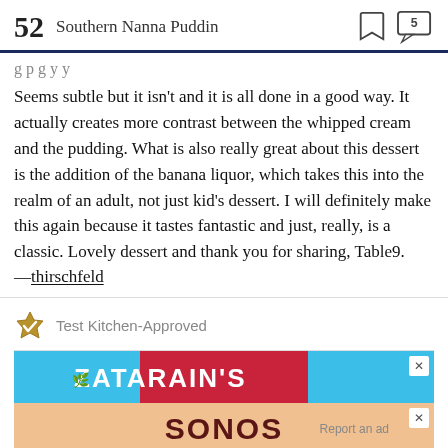52 Southern Nanna Puddin
Seems subtle but it isn't and it is all done in a good way. It actually creates more contrast between the whipped cream and the pudding. What is also really great about this dessert is the addition of the banana liquor, which takes this into the realm of an adult, not just kid's dessert. I will definitely make this again because it tastes fantastic and just, really, is a classic. Lovely dessert and thank you for sharing, Table9. —thirschfeld
Test Kitchen-Approved
[Figure (other): Advertisement banners: ZATARAIN'S and SONOS ads with close buttons and 'Report an ad' text]